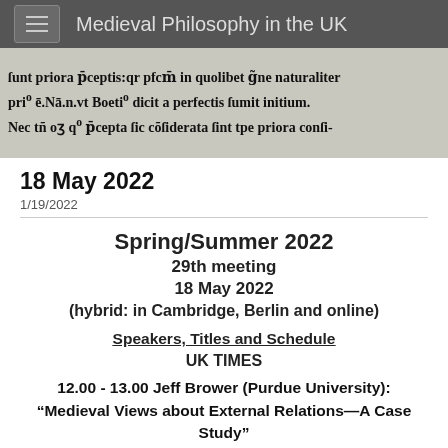Medieval Philosophy in the UK
[Figure (photo): Scanned medieval manuscript text in Latin blackletter script]
18 May 2022
1/19/2022
Spring/Summer 2022
29th meeting
18 May 2022
(hybrid: in Cambridge, Berlin and online)
Speakers, Titles and Schedule
UK TIMES
12.00 - 13.00 Jeff Brower (Purdue University): “Medieval Views about External Relations—A Case Study”
13.00 – 13.30 Break